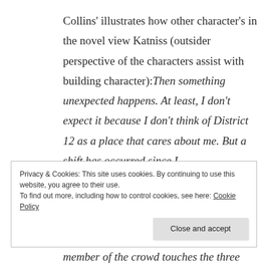Collins' illustrates how other character's in the novel view Katniss (outsider perspective of the characters assist with building character):Then something unexpected happens. At least, I don't expect it because I don't think of District 12 as a place that cares about me. But a shift has occurred since I
Privacy & Cookies: This site uses cookies. By continuing to use this website, you agree to their use.
To find out more, including how to control cookies, see here: Cookie Policy
[Close and accept button]
member of the crowd touches the three